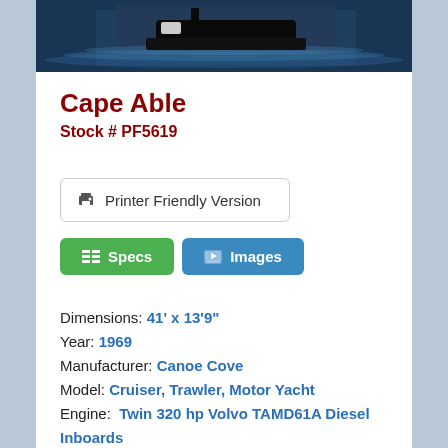[Figure (photo): Partial photo of a boat on water, dark tones, showing the vessel's hull and water reflections]
Cape Able
Stock # PF5619
Printer Friendly Version
Specs
Images
Dimensions: 41' x 13'9"
Year: 1969
Manufacturer: Canoe Cove
Model: Cruiser, Trawler, Motor Yacht
Engine: Twin 320 hp Volvo TAMD61A Diesel Inboards